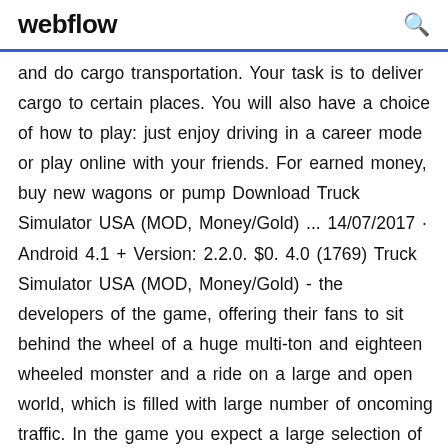webflow
and do cargo transportation. Your task is to deliver cargo to certain places. You will also have a choice of how to play: just enjoy driving in a career mode or play online with your friends. For earned money, buy new wagons or pump Download Truck Simulator USA (MOD, Money/Gold) ... 14/07/2017 · Android 4.1 + Version: 2.2.0. $0. 4.0 (1769) Truck Simulator USA (MOD, Money/Gold) - the developers of the game, offering their fans to sit behind the wheel of a huge multi-ton and eighteen wheeled monster and a ride on a large and open world, which is filled with large number of oncoming traffic. In the game you expect a large selection of goods that you can carry